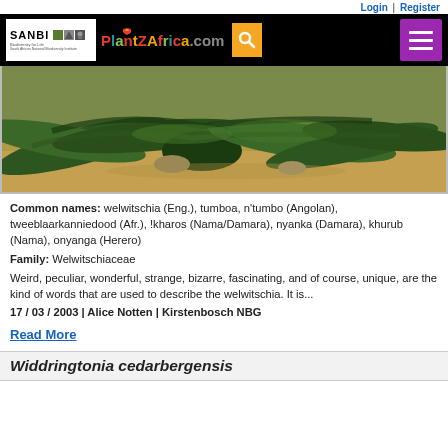Login | Register
[Figure (screenshot): PlantZAfrica.com website navigation bar with SANBI logo, PlantZAfrica colorful logo, search icon, and hamburger menu]
[Figure (photo): Close-up photo of a Welwitschia plant with large sprawling leaves on sandy ground]
Common names: welwitschia (Eng.), tumboa, n'tumbo (Angolan), tweeblaarkanniedood (Afr.), !kharos (Nama/Damara), nyanka (Damara), khurub (Nama), onyanga (Herero)
Family: Welwitschiaceae
Weird, peculiar, wonderful, strange, bizarre, fascinating, and of course, unique, are the kind of words that are used to describe the welwitschia. It is...
17 / 03 / 2003 | Alice Notten | Kirstenbosch NBG
Read More
Widdringtonia cedarbergensis